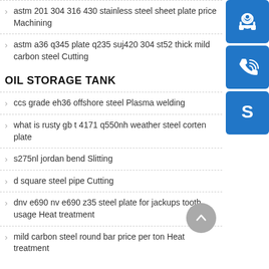astm 201 304 316 430 stainless steel sheet plate price Machining
astm a36 q345 plate q235 suj420 304 st52 thick mild carbon steel Cutting
OIL STORAGE TANK
ccs grade eh36 offshore steel Plasma welding
what is rusty gb t 4171 q550nh weather steel corten plate
s275nl jordan bend Slitting
d square steel pipe Cutting
dnv e690 nv e690 z35 steel plate for jackups tooth usage Heat treatment
mild carbon steel round bar price per ton Heat treatment
[Figure (illustration): Three blue square buttons in sidebar: headset/customer support icon, phone with signal waves icon, Skype 'S' logo icon]
[Figure (illustration): Gray circular scroll-to-top button with upward chevron arrow]